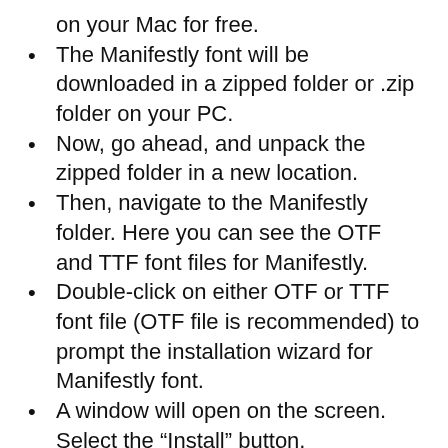on your Mac for free.
The Manifestly font will be downloaded in a zipped folder or .zip folder on your PC.
Now, go ahead, and unpack the zipped folder in a new location.
Then, navigate to the Manifestly folder. Here you can see the OTF and TTF font files for Manifestly.
Double-click on either OTF or TTF font file (OTF file is recommended) to prompt the installation wizard for Manifestly font.
A window will open on the screen. Select the “Install” button.
The Manifestly font will start installing on your Mac. This may take